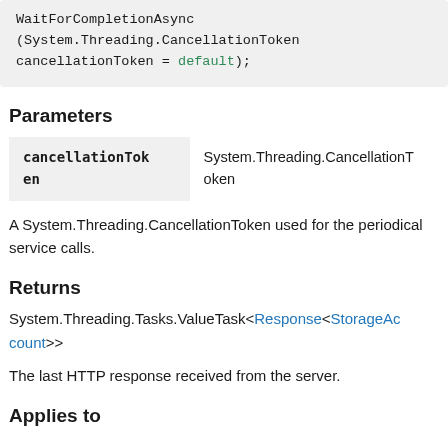WaitForCompletionAsync(System.Threading.CancellationToken cancellationToken = default);
Parameters
| cancellationToken | System.Threading.CancellationToken |
| --- | --- |
A System.Threading.CancellationToken used for the periodical service calls.
Returns
System.Threading.Tasks.ValueTask<Response<StorageAccount>>
The last HTTP response received from the server.
Applies to